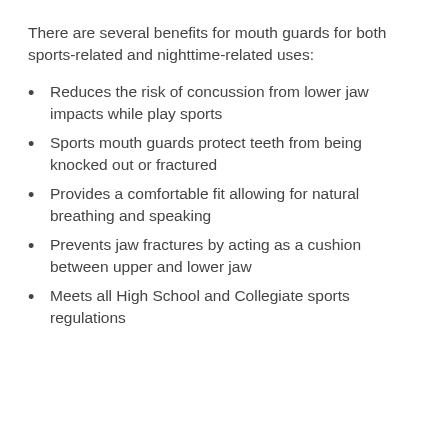There are several benefits for mouth guards for both sports-related and nighttime-related uses:
Reduces the risk of concussion from lower jaw impacts while play sports
Sports mouth guards protect teeth from being knocked out or fractured
Provides a comfortable fit allowing for natural breathing and speaking
Prevents jaw fractures by acting as a cushion between upper and lower jaw
Meets all High School and Collegiate sports regulations